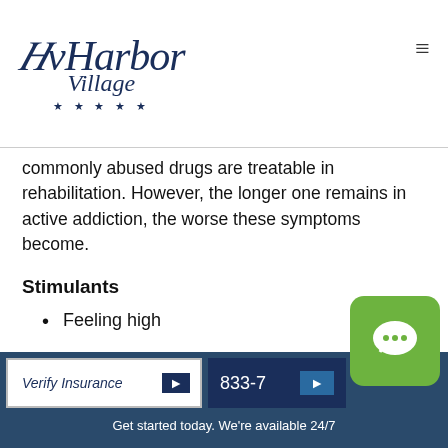Harbor Village ★ ★ ★ ★ ★
commonly abused drugs are treatable in rehabilitation. However, the longer one remains in active addiction, the worse these symptoms become.
Stimulants
Feeling high
Irregular heartbeat
Reduced appetite
Verify Insurance ▶   833-7...   ▶   Get started today. We're available 24/7